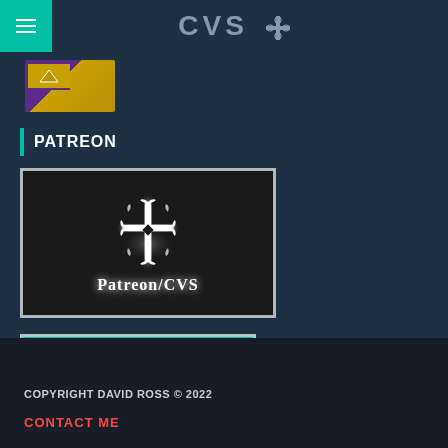CVS
[Figure (screenshot): Thumbnail image strip showing a book cover with purple background]
PATREON
[Figure (logo): Patreon/CVS logo: dark background with ornate white cross design and text 'Patreon/CVS' in serif font]
BECOME A PATRON
COPYRIGHT DAVID ROSS © 2022
CONTACT ME